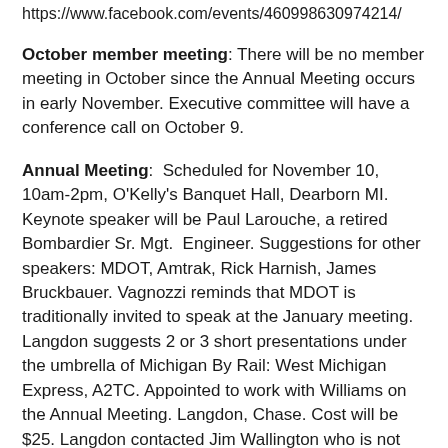https://www.facebook.com/events/460998630974214/
October member meeting: There will be no member meeting in October since the Annual Meeting occurs in early November. Executive committee will have a conference call on October 9.
Annual Meeting:  Scheduled for November 10, 10am-2pm, O'Kelly's Banquet Hall, Dearborn MI. Keynote speaker will be Paul Larouche, a retired Bombardier Sr. Mgt.  Engineer. Suggestions for other speakers: MDOT, Amtrak, Rick Harnish, James Bruckbauer. Vagnozzi reminds that MDOT is traditionally invited to speak at the January meeting.  Langdon suggests 2 or 3 short presentations under the umbrella of Michigan By Rail: West Michigan Express, A2TC. Appointed to work with Williams on the Annual Meeting. Langdon, Chase. Cost will be $25. Langdon contacted Jim Wallington who is not optimistic that Larry Swartz will make a donation this year to cover speaker expenses.